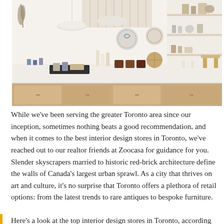[Figure (photo): Interior of a modern design store showing a long white counter/shelving display with various home goods, candles, ceramics, wooden items, and grooming products arranged neatly. Light wood cabinetry below, open shelving on the right wall, pendant lamps above, and a dried flower bunch on the left wall.]
While we've been serving the greater Toronto area since our inception, sometimes nothing beats a good recommendation, and when it comes to the best interior design stores in Toronto, we've reached out to our realtor friends at Zoocasa for guidance for you. Slender skyscrapers married to historic red-brick architecture define the walls of Canada's largest urban sprawl. As a city that thrives on art and culture, it's no surprise that Toronto offers a plethora of retail options: from the latest trends to rare antiques to bespoke furniture.
Here's a look at the top interior design stores in Toronto, according to